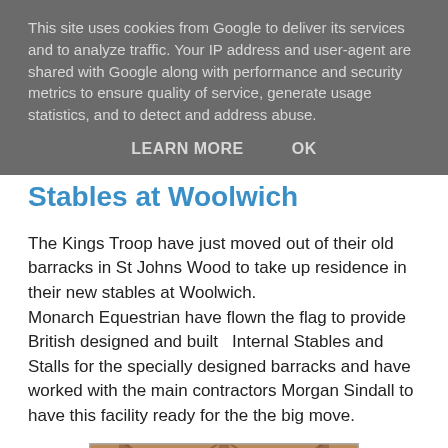This site uses cookies from Google to deliver its services and to analyze traffic. Your IP address and user-agent are shared with Google along with performance and security metrics to ensure quality of service, generate usage statistics, and to detect and address abuse.
LEARN MORE   OK
Stables at Woolwich
The Kings Troop have just moved out of their old barracks in St Johns Wood to take up residence in their new stables at Woolwich. Monarch Equestrian have flown the flag to provide British designed and built  Internal Stables and Stalls for the specially designed barracks and have worked with the main contractors Morgan Sindall to have this facility ready for the the big move.
[Figure (photo): Photo of wooden stable interior structure showing timber beams and construction]